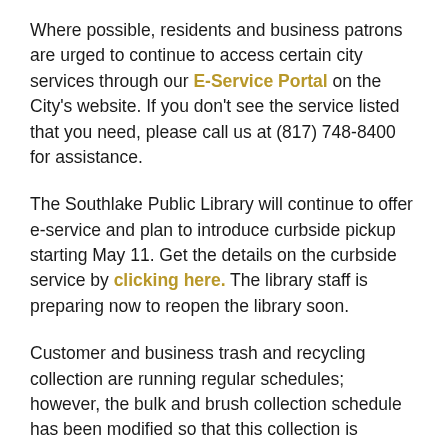Where possible, residents and business patrons are urged to continue to access certain city services through our E-Service Portal on the City's website. If you don't see the service listed that you need, please call us at (817) 748-8400 for assistance.
The Southlake Public Library will continue to offer e-service and plan to introduce curbside pickup starting May 11. Get the details on the curbside service by clicking here. The library staff is preparing now to reopen the library soon.
Customer and business trash and recycling collection are running regular schedules; however, the bulk and brush collection schedule has been modified so that this collection is handled on Wednesdays. Staff anticipates that Republic will resume normal schedules within the next few weeks.
Planning and development services continue to